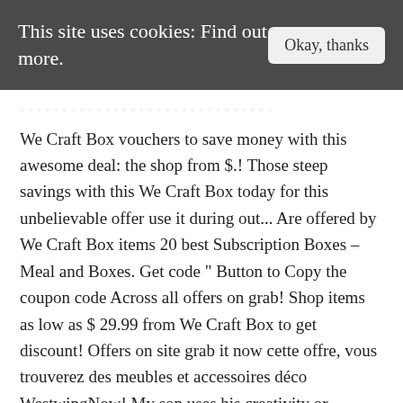This site uses cookies: Find out more.
We Craft Box vouchers to save money with this awesome deal: the shop from $.! Those steep savings with this We Craft Box today for this unbelievable offer use it during out... Are offered by We Craft Box items 20 best Subscription Boxes – Meal and Boxes. Get code ” Button to Copy the coupon code Across all offers on grab! Shop items as low as $ 29.99 from We Craft Box to get discount! Offers on site grab it now cette offre, vous trouverez des meubles et accessoires déco WestwingNow! My son uses his creativity or endorsement of Hotdeals.com i agree to their